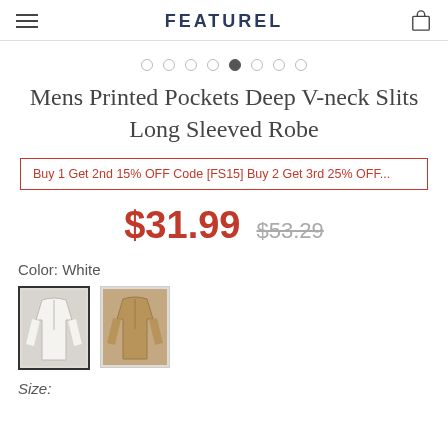FEATUREL
[Figure (other): Image carousel dot indicators, 8 dots with 4th filled]
Mens Printed Pockets Deep V-neck Slits Long Sleeved Robe
Buy 1 Get 2nd 15% OFF Code [FS15] Buy 2 Get 3rd 25% OFF...
$31.99  $53.29
Color: White
[Figure (photo): Two color swatches showing robe in white and tan/camel colors]
Size: